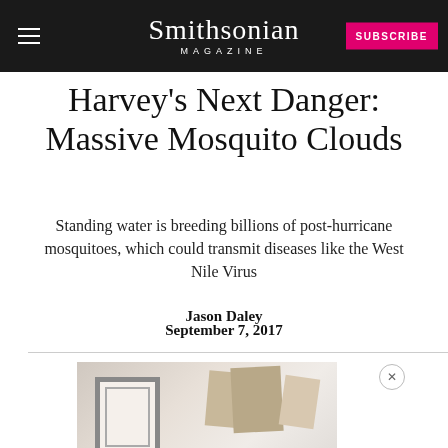Smithsonian MAGAZINE
Harvey's Next Danger: Massive Mosquito Clouds
Standing water is breeding billions of post-hurricane mosquitoes, which could transmit diseases like the West Nile Virus
Jason Daley
September 7, 2017
[Figure (photo): Advertisement image showing boxes and framed artwork on a light surface, with overlay text 'SMITHSONIAN MUSEUM COLLECTIONS']